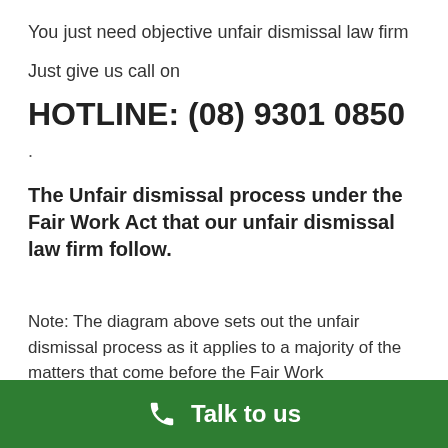You just need objective unfair dismissal law firm
Just give us call on
HOTLINE: (08) 9301 0850
.
The Unfair dismissal process under the Fair Work Act that our unfair dismissal law firm follow.
Note: The diagram above sets out the unfair dismissal process as it applies to a majority of the matters that come before the Fair Work Commission. However, each
Talk to us